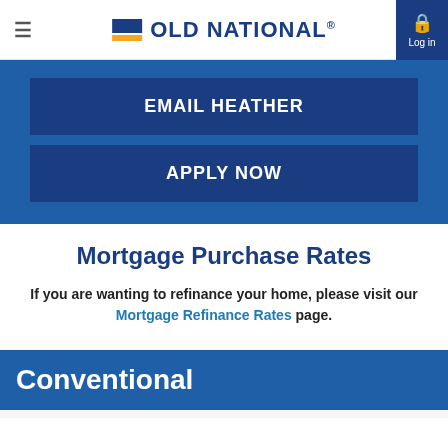≡  OLD NATIONAL®  Log in
EMAIL HEATHER
APPLY NOW
Mortgage Purchase Rates
If you are wanting to refinance your home, please visit our Mortgage Refinance Rates page.
Conventional